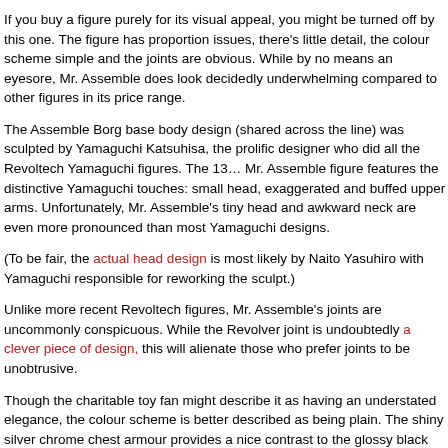If you buy a figure purely for its visual appeal, you might be turned off by this one. The figure has proportion issues, there's little detail, the colour scheme simple and the joints are obvious. While by no means an eyesore, Mr. Assemble does look decidedly underwhelming compared to other figures in its price range.
The Assemble Borg base body design (shared across the line) was sculpted by Yamaguchi Katsuhisa, the prolific designer who did all the Revoltech Yamaguchi figures. The 13… Mr. Assemble figure features the distinctive Yamaguchi touches: small head, exaggerated and buffed upper arms. Unfortunately, Mr. Assemble's tiny head and awkward neck are even more pronounced than most Yamaguchi designs.
(To be fair, the actual head design is most likely by Naito Yasuhiro with Yamaguchi responsible for reworking the sculpt.)
Unlike more recent Revoltech figures, Mr. Assemble's joints are uncommonly conspicuous. While the Revolver joint is undoubtedly a clever piece of design, this will alienate those who prefer joints to be unobtrusive.
Though the charitable toy fan might describe it as having an understated elegance, the colour scheme is better described as being plain. The shiny silver chrome chest armour provides a nice contrast to the glossy black that dominates the figure and the paint on the head is nice enough but the overall effect is rather bland.